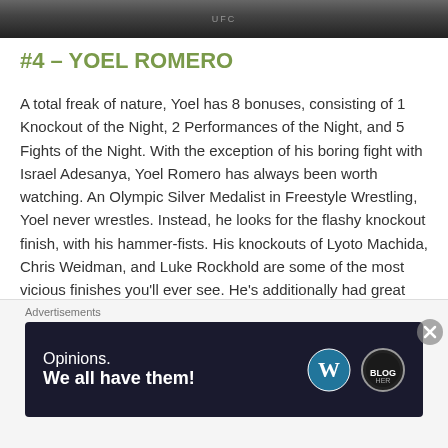[Figure (photo): Dark photo strip showing a person, likely a UFC fighter, with partial UFC branding visible]
#4 – YOEL ROMERO
A total freak of nature, Yoel has 8 bonuses, consisting of 1 Knockout of the Night, 2 Performances of the Night, and 5 Fights of the Night. With the exception of his boring fight with Israel Adesanya, Yoel Romero has always been worth watching. An Olympic Silver Medalist in Freestyle Wrestling, Yoel never wrestles. Instead, he looks for the flashy knockout finish, with his hammer-fists. His knockouts of Lyoto Machida, Chris Weidman, and Luke Rockhold are some of the most vicious finishes you'll ever see. He's additionally had great fights with Derek Brunson & Tim Kennedy, and Romero went to absolute war with Paulo Costa
Advertisements
[Figure (screenshot): Advertisement banner with dark background reading 'Opinions. We all have them!' with WordPress and Blog Her logos]